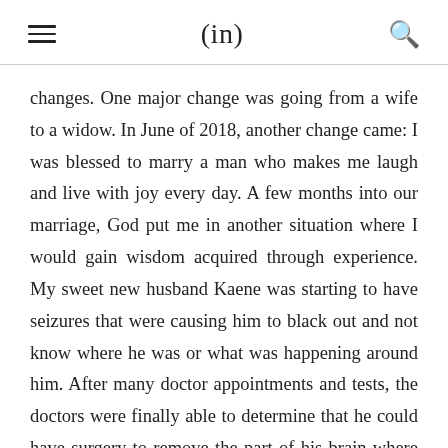(in)
changes. One major change was going from a wife to a widow. In June of 2018, another change came: I was blessed to marry a man who makes me laugh and live with joy every day. A few months into our marriage, God put me in another situation where I would gain wisdom acquired through experience. My sweet new husband Kaene was starting to have seizures that were causing him to black out and not know where he was or what was happening around him. After many doctor appointments and tests, the doctors were finally able to determine that he could have surgery to remove the part of his brain where the seizures were coming from. After a five-hour